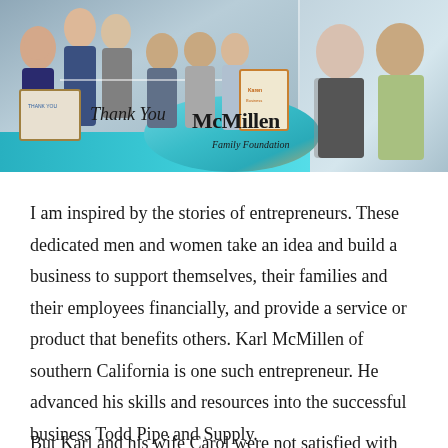[Figure (photo): Group photo banner showing several people holding awards and a certificate. Text overlay reads 'Thank You McMillen Family Foundation' with a teal oval logo and beach-themed background. Two photos side by side.]
I am inspired by the stories of entrepreneurs. These dedicated men and women take an idea and build a business to support themselves, their families and their employees financially, and provide a service or product that benefits others. Karl McMillen of southern California is one such entrepreneur. He advanced his skills and resources into the successful business Todd Pipe and Supply.
But Karl and his wife Carol were not satisfied with